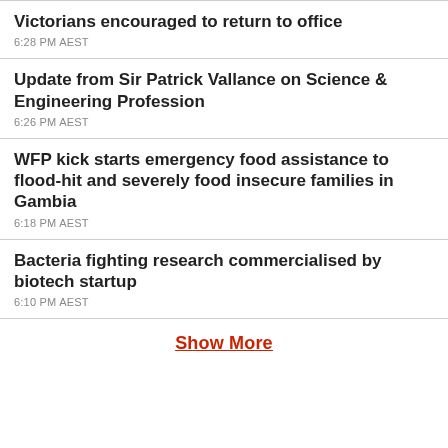Victorians encouraged to return to office
6:28 PM AEST
Update from Sir Patrick Vallance on Science & Engineering Profession
6:26 PM AEST
WFP kick starts emergency food assistance to flood-hit and severely food insecure families in Gambia
6:18 PM AEST
Bacteria fighting research commercialised by biotech startup
6:10 PM AEST
Show More